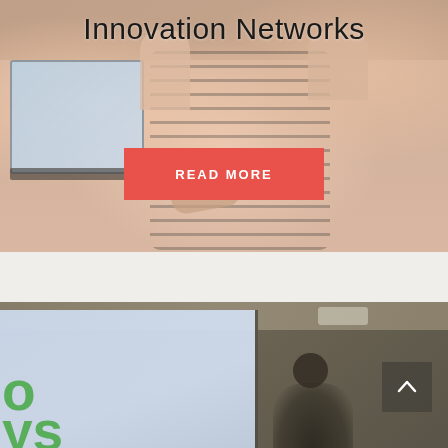[Figure (photo): Photo of people at a conference or workshop, with a laptop visible on the left. People appear to be smiling and engaged. A 'READ MORE' button overlays the image.]
Innovation Networks
READ MORE
[Figure (photo): Photo of a presentation or conference room. A projection screen on the left shows green text partially visible ('o' and 'ys' letters). An up-arrow navigation button is visible on the right side.]